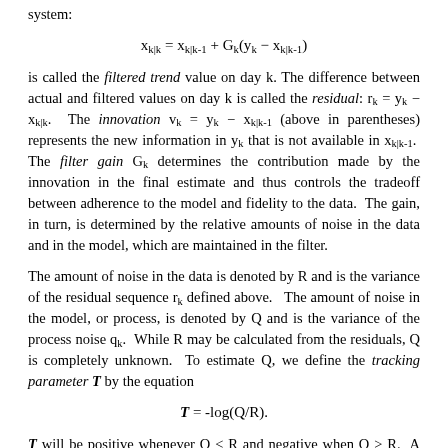system:
is called the filtered trend value on day k. The difference between actual and filtered values on day k is called the residual: r_k = y_k − x_{k|k}. The innovation v_k = y_k − x_{k|k-1} (above in parentheses) represents the new information in y_k that is not available in x_{k|k-1}. The filter gain G_k determines the contribution made by the innovation in the final estimate and thus controls the tradeoff between adherence to the model and fidelity to the data. The gain, in turn, is determined by the relative amounts of noise in the data and in the model, which are maintained in the filter.
The amount of noise in the data is denoted by R and is the variance of the residual sequence r_k defined above. The amount of noise in the model, or process, is denoted by Q and is the variance of the process noise q_k. While R may be calculated from the residuals, Q is completely unknown. To estimate Q, we define the tracking parameter T by the equation
T will be positive whenever Q < R and negative when Q > R. A negative T indicates the model has more noise than the original data and may need to be changed. In the simulations below, values of T ranging between -5 and 5 are tested and the value that minimizes the variance of the innovation sequence v_k is taken as the optimal T value.
The data in Figure 1 was tracked with the quadratic filter and an optimal T =